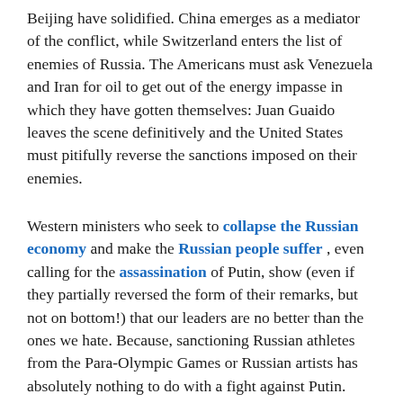Beijing have solidified. China emerges as a mediator of the conflict, while Switzerland enters the list of enemies of Russia. The Americans must ask Venezuela and Iran for oil to get out of the energy impasse in which they have gotten themselves: Juan Guaido leaves the scene definitively and the United States must pitifully reverse the sanctions imposed on their enemies.
Western ministers who seek to collapse the Russian economy and make the Russian people suffer , even calling for the assassination of Putin, show (even if they partially reversed the form of their remarks, but not on bottom!) that our leaders are no better than the ones we hate. Because, sanctioning Russian athletes from the Para-Olympic Games or Russian artists has absolutely nothing to do with a fight against Putin.